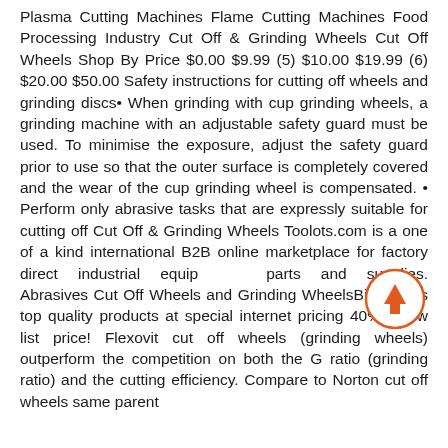Plasma Cutting Machines Flame Cutting Machines Food Processing Industry Cut Off & Grinding Wheels Cut Off Wheels Shop By Price $0.00 $9.99 (5) $10.00 $19.99 (6) $20.00 $50.00 Safety instructions for cutting off wheels and grinding discs• When grinding with cup grinding wheels, a grinding machine with an adjustable safety guard must be used. To minimise the exposure, adjust the safety guard prior to use so that the outer surface is completely covered and the wear of the cup grinding wheel is compensated. • Perform only abrasive tasks that are expressly suitable for cutting off Cut Off & Grinding Wheels Toolots.com is a one of a kind international B2B online marketplace for factory direct industrial equipment, parts and supplies. Abrasives Cut Off Wheels and Grinding WheelsBisco sells top quality products at special internet pricing 40% below list price! Flexovit cut off wheels (grinding wheels) outperform the competition on both the G ratio (grinding ratio) and the cutting efficiency. Compare to Norton cut off wheels same parent
[Figure (other): A circular scroll-to-top button with an orange/red border and an upward-pointing orange arrow in the center]